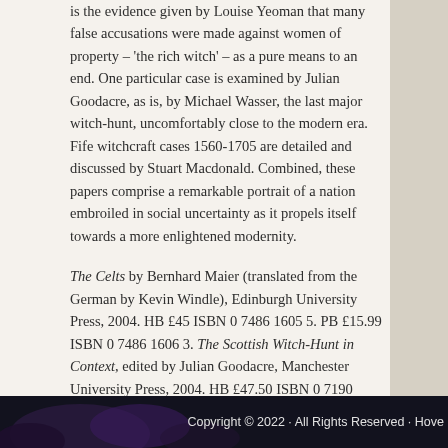is the evidence given by Louise Yeoman that many false accusations were made against women of property – 'the rich witch' – as a pure means to an end. One particular case is examined by Julian Goodacre, as is, by Michael Wasser, the last major witch-hunt, uncomfortably close to the modern era. Fife witchcraft cases 1560-1705 are detailed and discussed by Stuart Macdonald. Combined, these papers comprise a remarkable portrait of a nation embroiled in social uncertainty as it propels itself towards a more enlightened modernity.
The Celts by Bernhard Maier (translated from the German by Kevin Windle), Edinburgh University Press, 2004. HB £45 ISBN 0 7486 1605 5. PB £15.99 ISBN 0 7486 1606 3. The Scottish Witch-Hunt in Context, edited by Julian Goodacre, Manchester University Press, 2004. HB £47.50 ISBN 0 7190 6023 0. PB £14.99 ISBN 0 7190 6024 9.
Copyright Neil Macara Brown 2005.
Tags: Bernhard Maier, Jlian Goodacre
Comments
Copyright © 2022 · All Rights Reserved · Hove...